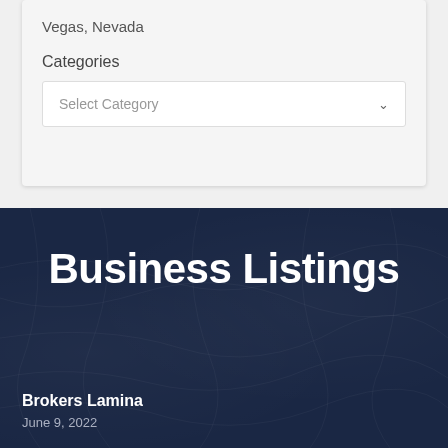Vegas, Nevada
Categories
Select Category
Business Listings
Brokers Lamina
June 9, 2022